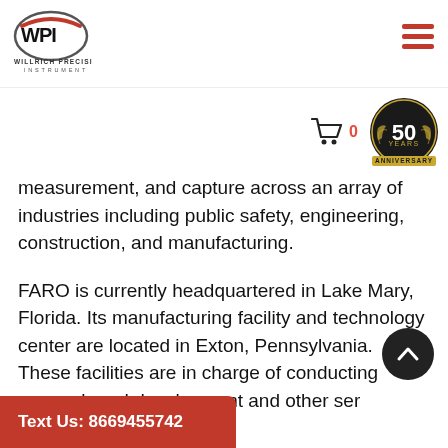[Figure (logo): Willrich Precision Instrument logo — WPI letters in oval with red highlight, text 'WILLRICH PRECISION INSTRUMENT' below]
[Figure (logo): 50 Years Anniversary badge — dark circular badge with gold laurel wreath and 'ANNIVERSARY' banner]
measurement, and capture across an array of industries including public safety, engineering, construction, and manufacturing.
FARO is currently headquartered in Lake Mary, Florida. Its manufacturing facility and technology center are located in Exton, Pennsylvania. These facilities are in charge of conducting research and development and other services and manufacturing operations. That's where product lines such as the FARO Focus 3D Imager and FARO Laser ... Apart from having offices in Mexico...